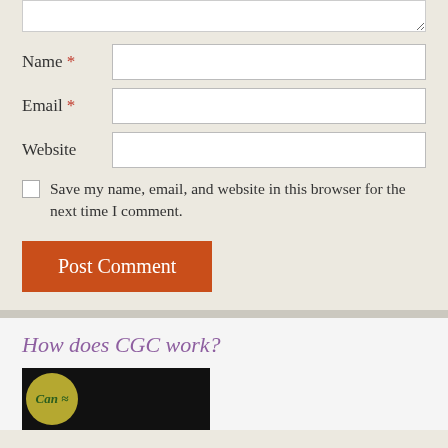Name *
Email *
Website
Save my name, email, and website in this browser for the next time I comment.
Post Comment
How does CGC work?
[Figure (screenshot): Video thumbnail with CGC logo circle on dark background]